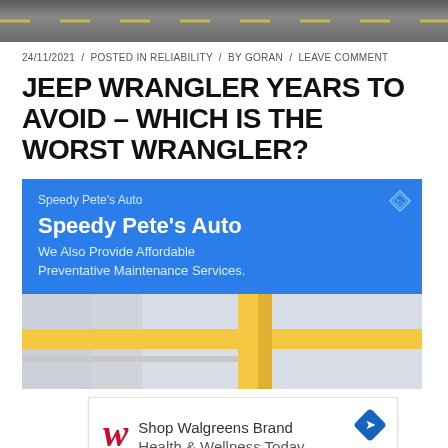[Figure (photo): Road banner image at top of page]
24/11/2021 / POSTED IN RELIABILITY / BY GORAN / LEAVE COMMENT
JEEP WRANGLER YEARS TO AVOID – WHICH IS THE WORST WRANGLER?
[Figure (other): Google Maps advertisement for Speedy Pete's Auto with map showing location pin]
[Figure (other): Walgreens advertisement: Shop Walgreens Brand Health & Wellness Today]